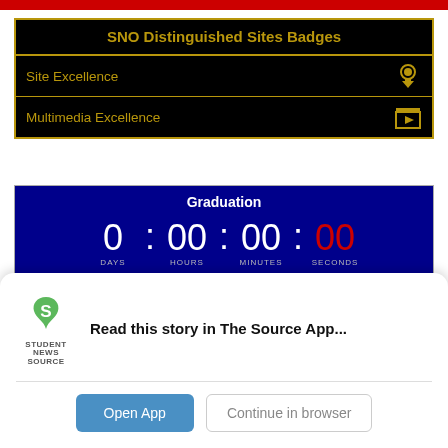SNO Distinguished Sites Badges
Site Excellence
Multimedia Excellence
[Figure (infographic): Graduation countdown timer showing 0 days, 00 hours, 00 minutes, 00 seconds (seconds in red). Title: Graduation. Footer: TickCounter Countdown Timer.]
Trending Stories
[Figure (logo): Student News Source app logo — green S icon with 'STUDENT NEWS SOURCE' text below]
Read this story in The Source App...
Open App
Continue in browser